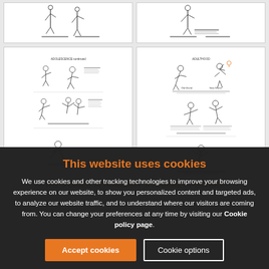[Figure (illustration): Thumbnail of a document page titled ADOLESCENCE continued - showing stick figure illustrations with labels]
[Figure (illustration): Thumbnail of a document page titled ADULTHOOD - showing stick figure illustrations with Old World and New World labels]
THE STAGES IN HUMANITY'S JOURNEY POSTERS
This website uses cookies
We use cookies and other tracking technologies to improve your browsing experience on our website, to show you personalized content and targeted ads, to analyze our website traffic, and to understand where our visitors are coming from. You can change your preferences at any time by visiting our Cookie policy page.
Accept cookies
Cookie options